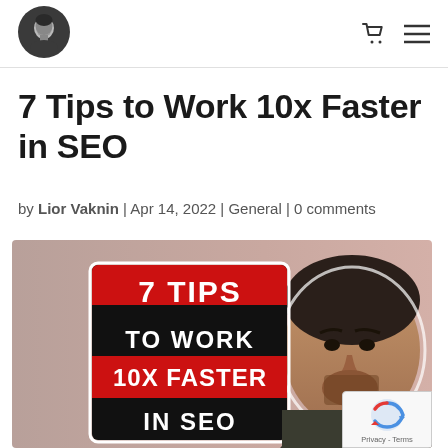[Figure (logo): Circular avatar photo of a man with dark hair]
[Figure (other): Cart and hamburger menu icons in header]
7 Tips to Work 10x Faster in SEO
by Lior Vaknin | Apr 14, 2022 | General | 0 comments
[Figure (photo): Thumbnail image of a man with dark hair next to a black and red graphic sign reading '7 TIPS TO WORK 10X FASTER IN SEO' on a pinkish-grey background]